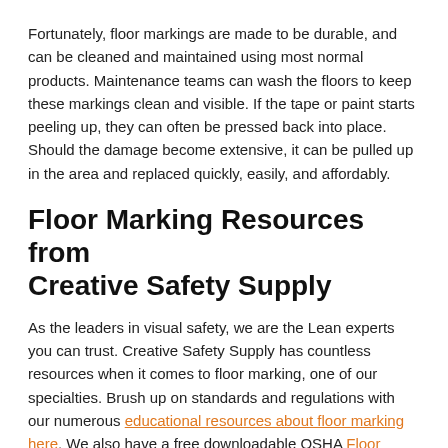Fortunately, floor markings are made to be durable, and can be cleaned and maintained using most normal products. Maintenance teams can wash the floors to keep these markings clean and visible. If the tape or paint starts peeling up, they can often be pressed back into place. Should the damage become extensive, it can be pulled up in the area and replaced quickly, easily, and affordably.
Floor Marking Resources from Creative Safety Supply
As the leaders in visual safety, we are the Lean experts you can trust. Creative Safety Supply has countless resources when it comes to floor marking, one of our specialties. Brush up on standards and regulations with our numerous educational resources about floor marking here. We also have a free downloadable OSHA Floor Marking Guide that you can use as a reference for your new floor marking project.
To finish off, we also make our very own industrial floor marking tape! SafetyTac® is one of the most durable floor marking options